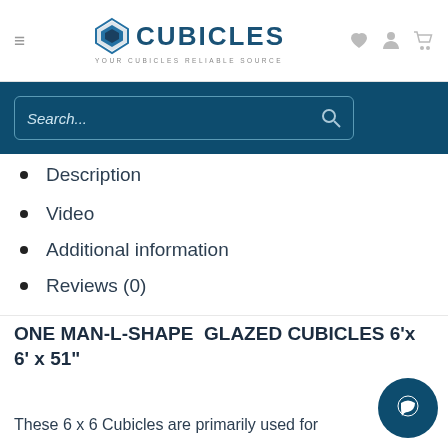CUBICLES YOUR CUBICLES RELIABLE SOURCE
[Figure (screenshot): Search bar with dark blue background and search icon]
Description
Video
Additional information
Reviews (0)
ONE MAN-L-SHAPE  GLAZED CUBICLES 6'x 6' x 51"
These 6 x 6 Cubicles are primarily used for